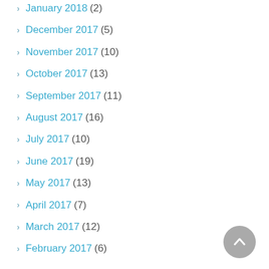January 2018 (2)
December 2017 (5)
November 2017 (10)
October 2017 (13)
September 2017 (11)
August 2017 (16)
July 2017 (10)
June 2017 (19)
May 2017 (13)
April 2017 (7)
March 2017 (12)
February 2017 (6)